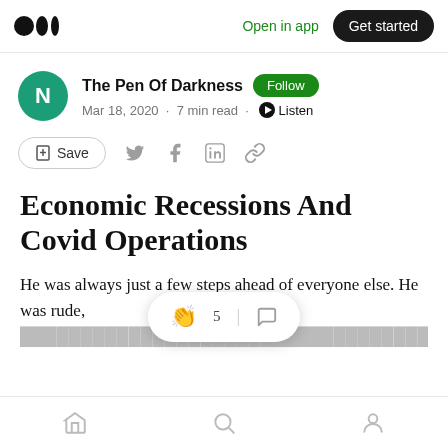Open in app | Get started
The Pen Of Darkness | Follow | Mar 18, 2020 · 7 min read · Listen
Save
Economic Recessions And Covid Operations
He was always just a few steps ahead of everyone else. He was rude, and loud. We
Home | Search | Profile